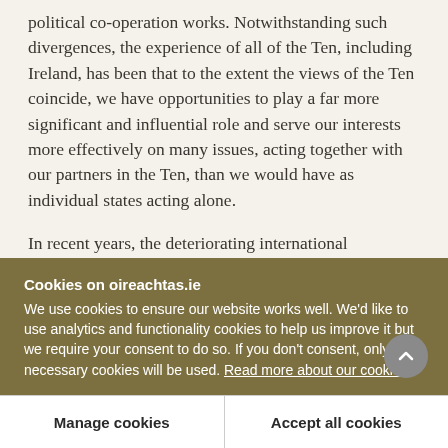political co-operation works. Notwithstanding such divergences, the experience of all of the Ten, including Ireland, has been that to the extent the views of the Ten coincide, we have opportunities to play a far more significant and influential role and serve our interests more effectively on many issues, acting together with our partners in the Ten, than we would have as individual states acting alone.
In recent years, the deteriorating international environment together with the success of political
Cookies on oireachtas.ie
We use cookies to ensure our website works well. We'd like to use analytics and functionality cookies to help us improve it but we require your consent to do so. If you don't consent, only necessary cookies will be used. Read more about our cookies
Manage cookies
Accept all cookies